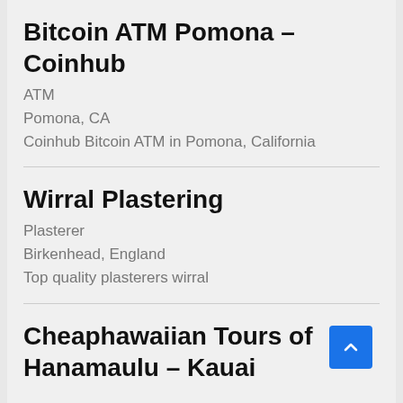Bitcoin ATM Pomona – Coinhub
ATM
Pomona, CA
Coinhub Bitcoin ATM in Pomona, California
Wirral Plastering
Plasterer
Birkenhead, England
Top quality plasterers wirral
Cheaphawaiian Tours of Hanamaulu – Kauai